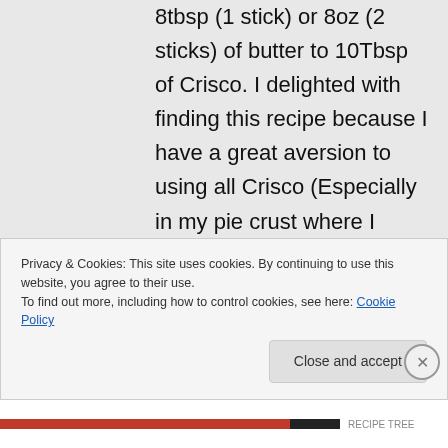8tbsp (1 stick) or 8oz (2 sticks) of butter to 10Tbsp of Crisco. I delighted with finding this recipe because I have a great aversion to using all Crisco (Especially in my pie crust where I personally use half salted butter and haf Crisco rather than all Crisco). Thanks.
Privacy & Cookies: This site uses cookies. By continuing to use this website, you agree to their use.
To find out more, including how to control cookies, see here: Cookie Policy